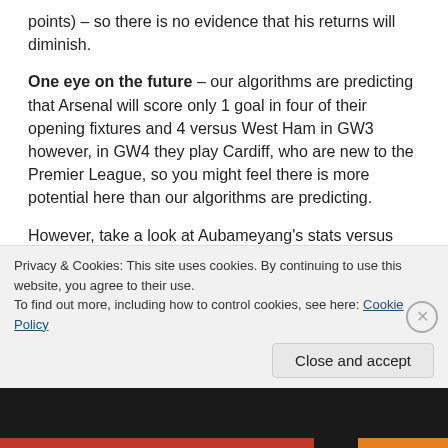points) – so there is no evidence that his returns will diminish.
One eye on the future – our algorithms are predicting that Arsenal will score only 1 goal in four of their opening fixtures and 4 versus West Ham in GW3 however, in GW4 they play Cardiff, who are new to the Premier League, so you might feel there is more potential here than our algorithms are predicting.
However, take a look at Aubameyang's stats versus similar opposition. After the opening game versus Man City he has a history of 0.8 to 2 big...
Privacy & Cookies: This site uses cookies. By continuing to use this website, you agree to their use.
To find out more, including how to control cookies, see here: Cookie Policy